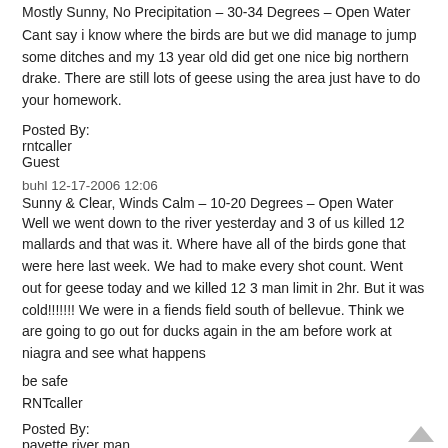Mostly Sunny, No Precipitation – 30-34 Degrees – Open Water
Cant say i know where the birds are but we did manage to jump some ditches and my 13 year old did get one nice big northern drake. There are still lots of geese using the area just have to do your homework.
Posted By:
rntcaller
Guest
buhl 12-17-2006 12:06
Sunny & Clear, Winds Calm – 10-20 Degrees – Open Water
Well we went down to the river yesterday and 3 of us killed 12 mallards and that was it. Where have all of the birds gone that were here last week. We had to make every shot count. Went out for geese today and we killed 12 3 man limit in 2hr. But it was cold!!!!!!! We were in a fiends field south of bellevue. Think we are going to go out for ducks again in the am before work at niagra and see what happens
be safe
RNTcaller
Posted By:
payette river man